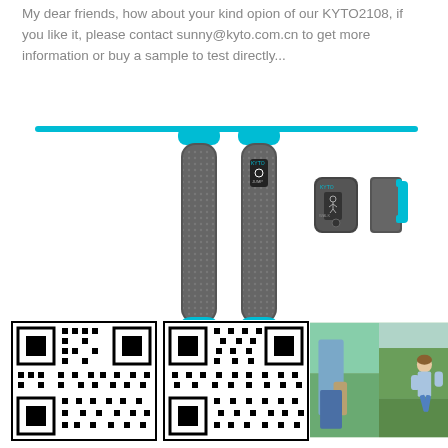My dear friends, how about your kind opion of our KYTO2108, if you like it, please contact sunny@kyto.com.cn to get more information or buy a sample to test directly...
[Figure (photo): Product photo of KYTO2108 smart jump rope showing two handle units connected by a teal/cyan rope, along with a small pod/tracker unit and a teal bracket accessory]
[Figure (other): QR code 1 on the left]
[Figure (other): QR code 2 in the middle]
[Figure (photo): Two photos side by side: a person holding the KYTO device at hip level and a person jumping rope outdoors]